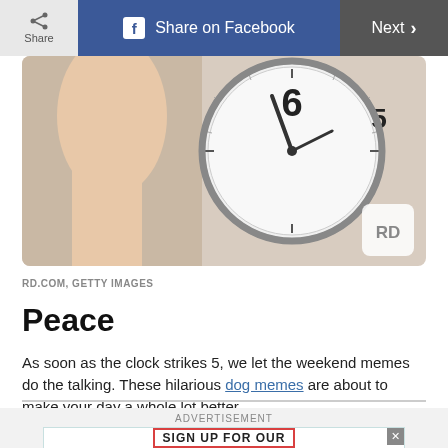Share | Share on Facebook | Next
[Figure (photo): A hand pointing at a wall clock showing near 5 o'clock, with RD watermark badge in bottom right corner]
RD.COM, GETTY IMAGES
Peace
As soon as the clock strikes 5, we let the weekend memes do the talking. These hilarious dog memes are about to make your day a whole lot better.
ADVERTISEMENT
[Figure (screenshot): Advertisement banner with text SIGN UP FOR OUR]